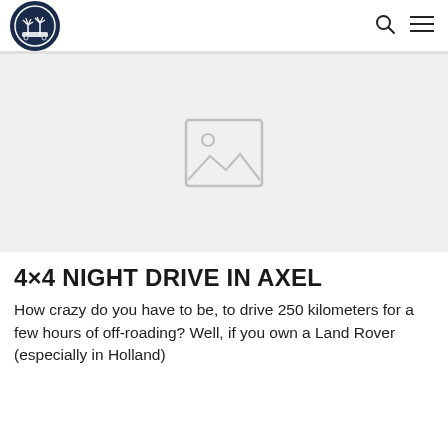[Logo] [Search icon] [Menu icon]
[Figure (photo): Placeholder hero image with a gray background and a centered image placeholder icon (rectangle with circle and mountain symbol)]
4×4 NIGHT DRIVE IN AXEL
How crazy do you have to be, to drive 250 kilometers for a few hours of off-roading? Well, if you own a Land Rover (especially in Holland)